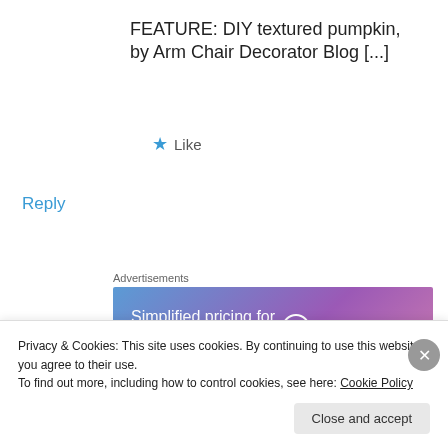FEATURE: DIY textured pumpkin, by Arm Chair Decorator Blog [...]
★ Like
Reply
Advertisements
[Figure (other): WordPress.com advertisement banner: 'Simplified pricing for everything you need.' with WordPress.com logo]
REPORT THIS AD
[Figure (photo): Profile photo of a blonde woman]
Funky Junk Interiors
Privacy & Cookies: This site uses cookies. By continuing to use this website, you agree to their use.
To find out more, including how to control cookies, see here: Cookie Policy
Close and accept
REPORT THIS AD